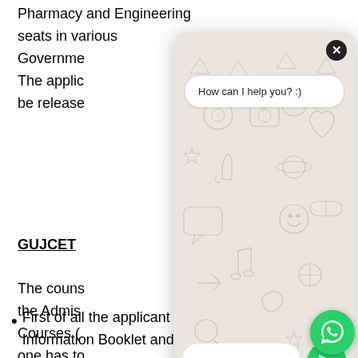Pharmacy and Engineering seats in various Government be released
GUJCET
The counselling the Admissions Courses one has to counselling
First of all the applicant have to purchase Information Booklet and PIN from ICICI
[Figure (screenshot): WhatsApp chat widget overlay showing 'How can I help you? :)' message bubble, decorative WhatsApp pattern background, text input bar, send button, and WhatsApp icon at bottom right.]